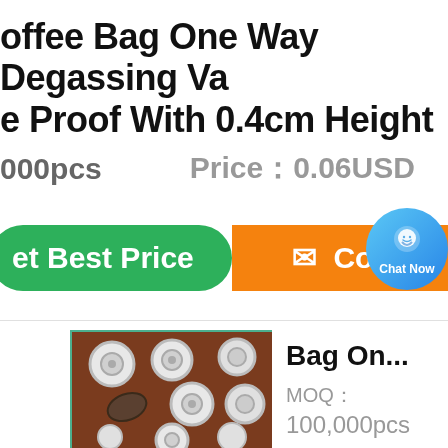Coffee Bag One Way Degassing Valve … Proof With 0.4cm Height
000pcs   Price：0.06USD
[Figure (screenshot): Green 'Get Best Price' button, blue Chat Now bubble, and orange 'Contact' button row]
[Figure (photo): Brown background with multiple white round degassing valves arranged in a grid]
Bag On...
MOQ：
100,000pcs